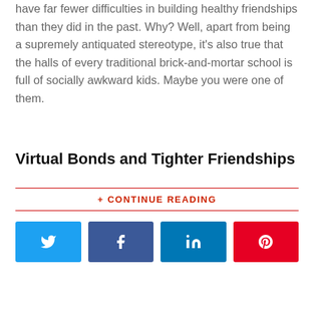have far fewer difficulties in building healthy friendships than they did in the past. Why? Well, apart from being a supremely antiquated stereotype, it's also true that the halls of every traditional brick-and-mortar school is full of socially awkward kids. Maybe you were one of them.
Virtual Bonds and Tighter Friendships
+ CONTINUE READING
[Figure (infographic): Four social media share buttons: Twitter (blue), Facebook (dark blue), LinkedIn (medium blue), Pinterest (red), each with respective icons]